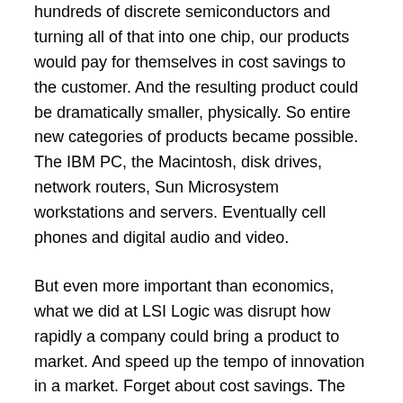hundreds of discrete semiconductors and turning all of that into one chip, our products would pay for themselves in cost savings to the customer. And the resulting product could be dramatically smaller, physically. So entire new categories of products became possible. The IBM PC, the Macintosh, disk drives, network routers, Sun Microsystem workstations and servers. Eventually cell phones and digital audio and video.
But even more important than economics, what we did at LSI Logic was disrupt how rapidly a company could bring a product to market. And speed up the tempo of innovation in a market. Forget about cost savings. The value of dramatically speeding the pace of innovation is what transformed the market.
Going back to taking that offer to join LSI. My territory was